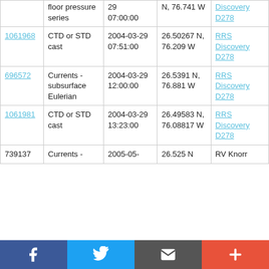| ID | Type | Date/Time | Position | Vessel |
| --- | --- | --- | --- | --- |
|  | floor pressure series | 29 07:00:00 | N, 76.741 W | Discovery D278 |
| 1061968 | CTD or STD cast | 2004-03-29 07:51:00 | 26.50267 N, 76.209 W | RRS Discovery D278 |
| 696572 | Currents - subsurface Eulerian | 2004-03-29 12:00:00 | 26.5391 N, 76.881 W | RRS Discovery D278 |
| 1061981 | CTD or STD cast | 2004-03-29 13:23:00 | 26.49583 N, 76.08817 W | RRS Discovery D278 |
| 739137 | Currents - | 2005-05- | 26.525 N | RV Knorr |
[Figure (other): Social sharing bar with Facebook, Twitter, Email/envelope, and plus (+) buttons]